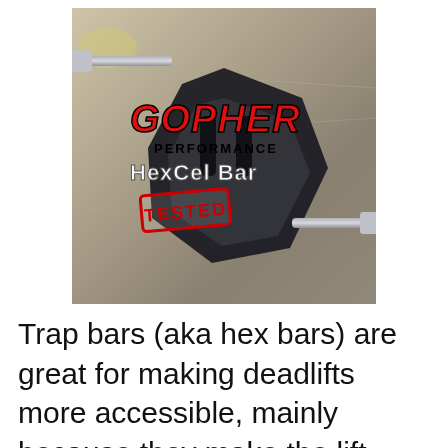[Figure (photo): Photo of a Gopher Performance HexCel Bar (trap/hex bar) lying on a concrete surface, with overlaid text reading GOPHER PERFORMANCE HexCel Bar and a red TESTED stamp.]
Trap bars (aka hex bars) are great for making deadlifts more accessible, mainly because they make the lift much easier on the